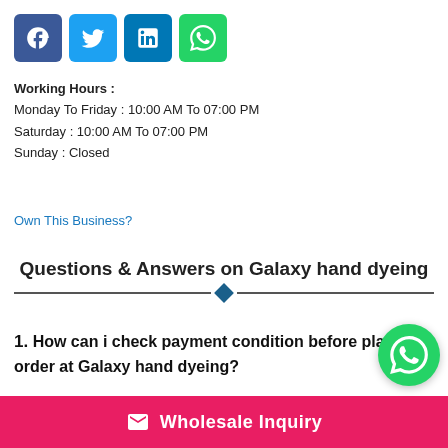[Figure (other): Row of four social media icon buttons: Facebook (blue), Twitter (light blue), LinkedIn (dark blue), WhatsApp (green)]
Working Hours :
Monday To Friday : 10:00 AM To 07:00 PM
Saturday : 10:00 AM To 07:00 PM
Sunday : Closed
Own This Business?
Questions & Answers on Galaxy hand dyeing
1. How can i check payment condition before placing order at Galaxy hand dyeing?
You can check payment and accounting conditions at Galaxy hand dyeing here. Pay on Delivery (POD), Partial Payment Advance (PPA) are terms for payment before placing order here.
[Figure (logo): WhatsApp floating circular green button]
Wholesale Inquiry